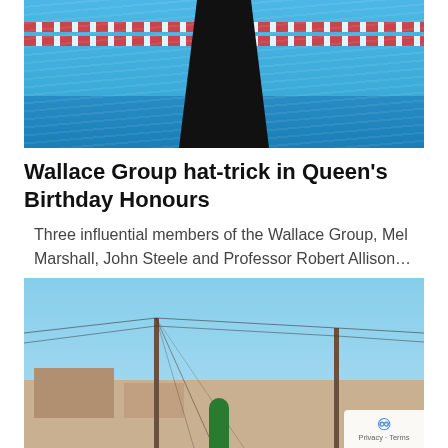[Figure (photo): Photo of a person standing at a swimming pool. The lower half of a dark-clothed figure is visible in the foreground, with a blue pool and red lane rope visible in the background.]
Wallace Group hat-trick in Queen's Birthday Honours
Three influential members of the Wallace Group, Mel Marshall, John Steele and Professor Robert Allison…
[Figure (photo): Outdoor photo showing utility power poles with many wires against a blue sky, with low buildings in the background and a person in a green top visible at lower center.]